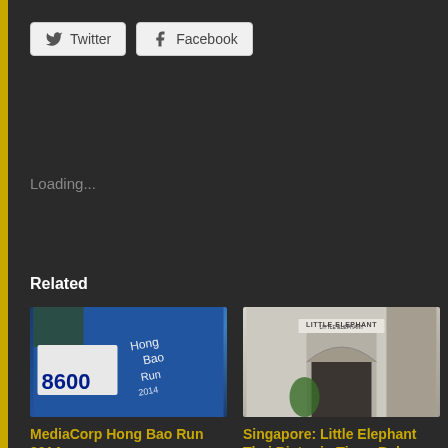[Figure (other): Twitter social share button]
[Figure (other): Facebook social share button]
Loading...
Related
[Figure (photo): MediaCorp Hong Bao Run 2014 race bib number 8600 with blue event t-shirt]
MediaCorp Hong Bao Run 2014
February 12, 2014
In "Events"
[Figure (photo): Singapore Little Elephant Thai Bistro in Tiong Bahru storefront entrance]
Singapore: Little Elephant Thai Bistro in Tiong Bahru
May 5, 2019
In "Food & Drink"